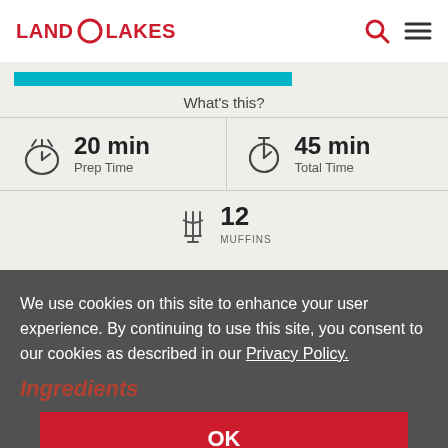LAND O LAKES
What's this?
20 min Prep Time
45 min Total Time
12 MUFFINS
We use cookies on this site to enhance your user experience. By continuing to use this site, you consent to our cookies as described in our Privacy Policy.
OK
Ingredients
MUFFINS